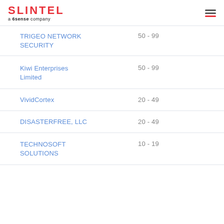SLINTEL a 6sense company
| Company | Employees |
| --- | --- |
| TRIGEO NETWORK SECURITY | 50 - 99 |
| Kiwi Enterprises Limited | 50 - 99 |
| VividCortex | 20 - 49 |
| DISASTERFREE, LLC | 20 - 49 |
| TECHNOSOFT SOLUTIONS | 10 - 19 |